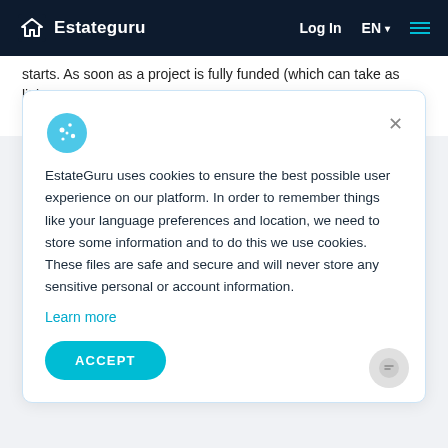Estateguru — Log In  EN
starts. As soon as a project is fully funded (which can take as little as a few minutes) the contracts are signed and the money is
EstateGuru uses cookies to ensure the best possible user experience on our platform. In order to remember things like your language preferences and location, we need to store some information and to do this we use cookies. These files are safe and secure and will never store any sensitive personal or account information.
Learn more
ACCEPT